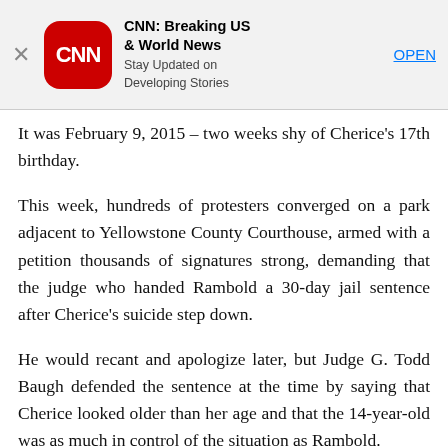[Figure (screenshot): CNN app advertisement banner with red rounded square logo, app name 'CNN: Breaking US & World News', tagline 'Stay Updated on Developing Stories', and an OPEN link button]
It was February 9, 2015 – two weeks shy of Cherice's 17th birthday.
This week, hundreds of protesters converged on a park adjacent to Yellowstone County Courthouse, armed with a petition thousands of signatures strong, demanding that the judge who handed Rambold a 30-day jail sentence after Cherice's suicide step down.
He would recant and apologize later, but Judge G. Todd Baugh defended the sentence at the time by saying that Cherice looked older than her age and that the 14-year-old was as much in control of the situation as Rambold.